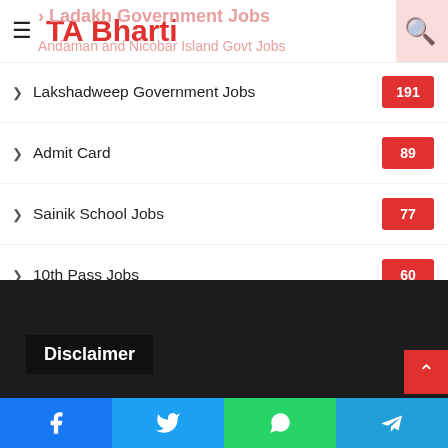TA Bharti
Lakshadweep Government Jobs 191
Admit Card 89
Sainik School Jobs 77
10th Pass Jobs 60
Results 20
Time Table 5
Disclaimer
Facebook Twitter WhatsApp Telegram